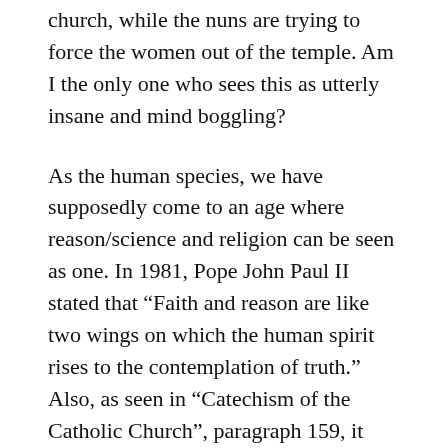church, while the nuns are trying to force the women out of the temple. Am I the only one who sees this as utterly insane and mind boggling?
As the human species, we have supposedly come to an age where reason/science and religion can be seen as one. In 1981, Pope John Paul II stated that “Faith and reason are like two wings on which the human spirit rises to the contemplation of truth.” Also, as seen in “Catechism of the Catholic Church”, paragraph 159, it states… “Though faith is above reason, there can never be any real discrepancy between faith and reason. Since the same God who reveals mysteries and infuses faith has